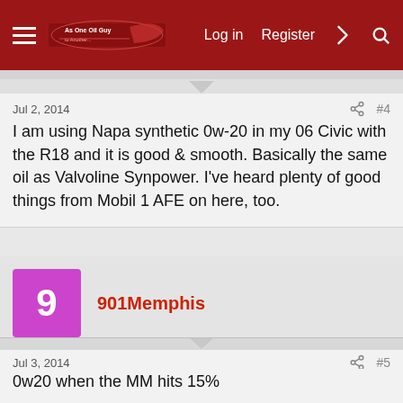Log in  Register  [nav icons]
Jul 2, 2014  #4
I am using Napa synthetic 0w-20 in my 06 Civic with the R18 and it is good & smooth. Basically the same oil as Valvoline Synpower. I've heard plenty of good things from Mobil 1 AFE on here, too.
901Memphis
Jul 3, 2014  #5
0w20 when the MM hits 15%
Alex38